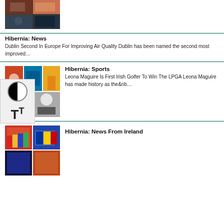[Figure (photo): Collage of news images at top of page]
Hibernia: News
Dublin Second In Europe For Improving Air Quality Dublin has been named the second most improved…
[Figure (photo): Collage of sports images including golfer, palm tree, sea, swimming, cycling]
Hibernia: Sports
Leona Maguire Is First Irish Golfer To Win The LPGA Leona Maguire has made history as the&nb…
[Figure (photo): Collage of news from Ireland images including colorful buildings, flags, performance]
Hibernia: News From Ireland